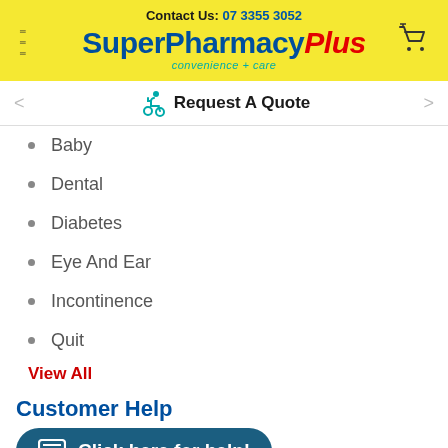Contact Us: 07 3355 3052 — SuperPharmacyPlus convenience + care
[Figure (screenshot): Request A Quote banner with wheelchair accessibility icon, left arrow and right arrow navigation]
Baby
Dental
Diabetes
Eye And Ear
Incontinence
Quit
View All
Customer Help
Click here for help!
Sign Into My Account